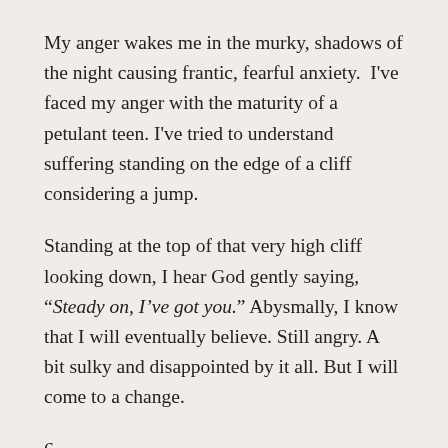My anger wakes me in the murky, shadows of the night causing frantic, fearful anxiety.  I've faced my anger with the maturity of a petulant teen. I've tried to understand suffering standing on the edge of a cliff considering a jump.
Standing at the top of that very high cliff looking down, I hear God gently saying, “Steady on, I’ve got you.” Abysmally, I know that I will eventually believe. Still angry. A bit sulky and disappointed by it all. But I will come to a change.
6.
Today is a cold blustery and snowy winter morning. I find I can suddenly pray more than “This. Is. Too.